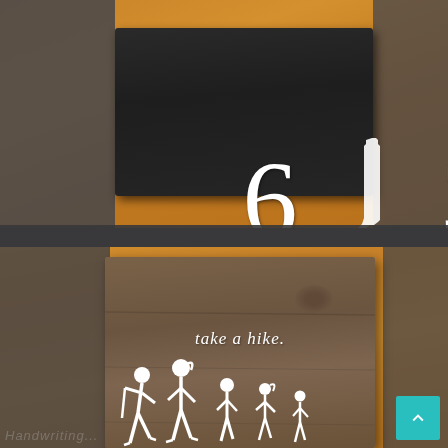[Figure (photo): Top photo: a dark-stained barnwood sign showing '613' in white letters (with the New Hampshire state outline forming the '1') placed on an orange-toned wood floor background, with dark gray side panels visible]
[Figure (photo): Bottom photo: a rustic brown barnwood sign reading 'take a hike.' in white italic serif text, with white stick-figure hiker icons (adults and children hiking) along the bottom, placed on an orange-toned wood floor, with dark gray side panels and a teal back-to-top button in the corner]
Handwriting...
^